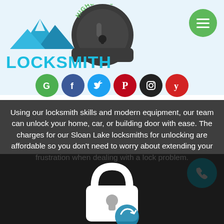[Figure (logo): Highlands Locksmith logo with mountain/lock graphic and LOCKSMITH text in teal]
[Figure (infographic): Green circular menu/hamburger button in top right]
[Figure (infographic): Row of social media icons: Google (green), Facebook (blue), Twitter (blue), Pinterest (red), Instagram (black), Yelp (red)]
Using our locksmith skills and modern equipment, our team can unlock your home, car, or building door with ease. The charges for our Sloan Lake locksmiths for unlocking are affordable so you don't need to worry about extending your frustration when dealing with a lock problem.
[Figure (illustration): White open padlock icon with circular refresh/unlock arrow overlay at bottom]
[Figure (other): Cyan circular phone/call button on the right side]